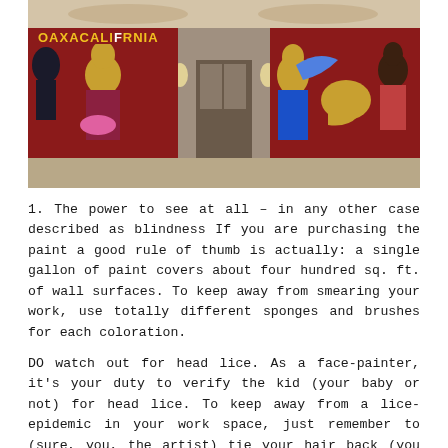[Figure (photo): Interior photo of a building lobby or gallery featuring large colorful murals on both walls. The left mural shows figures with text 'OAXACALIFORNIA' at the top. The right mural shows colorful figures including one in blue. The hallway leads to a doorway in the center with ornate ceiling frescoes visible.]
1. The power to see at all – in any other case described as blindness If you are purchasing the paint a good rule of thumb is actually: a single gallon of paint covers about four hundred sq. ft. of wall surfaces. To keep away from smearing your work, use totally different sponges and brushes for each coloration.
DO watch out for head lice. As a face-painter, it's your duty to verify the kid (your baby or not) for head lice. To keep away from a lice-epidemic in your work space, just remember to (sure, you, the artist) tie your hair back (you probably have long hair). If doable ask the kid to pull back